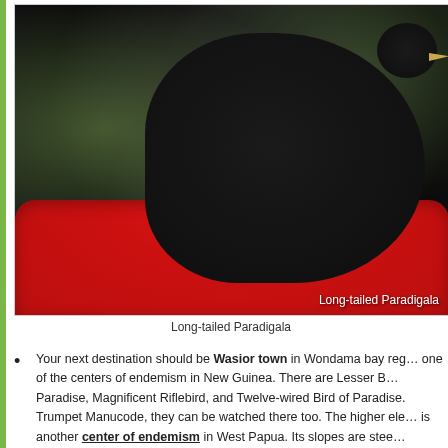[Figure (photo): A Long-tailed Paradigalla bird, entirely black, perched on a large bright red textured flower/seed cluster. Green blurred foliage in background. White label text in bottom right corner reads 'Long-tailed Paradigala'.]
Long-tailed Paradigala
Your next destination should be Wasior town in Wondama bay reg... one of the centers of endemism in New Guinea. There are Lesser B... Paradise, Magnificent Riflebird, and Twelve-wired Bird of Paradise. Trumpet Manucode, they can be watched there too. The higher ele... is another center of endemism in West Papua. Its slopes are stee... birdwatchers to reach it. Along its mountain ridge, visitors will be ab... Bi_Hilli_W_Bi_S_d...